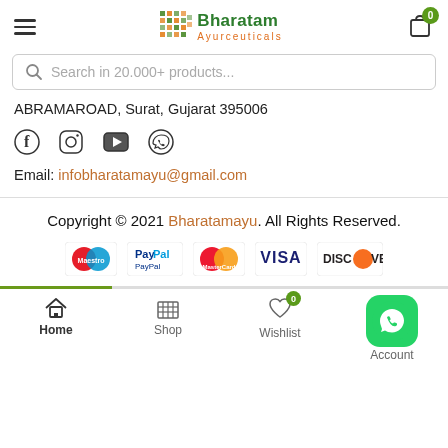Bharatam Ayurceuticals — hamburger menu, logo, cart (0)
Search in 20.000+ products...
ABRAMAROAD, Surat, Gujarat 395006
[Figure (infographic): Social media icons: Facebook, Instagram, YouTube, WhatsApp]
Email: infobharatamayu@gmail.com
Copyright © 2021 Bharatamayu. All Rights Reserved.
[Figure (infographic): Payment method logos: Maestro, PayPal, MasterCard, VISA, DISCOVER]
Home | Shop | Wishlist (0) | Account